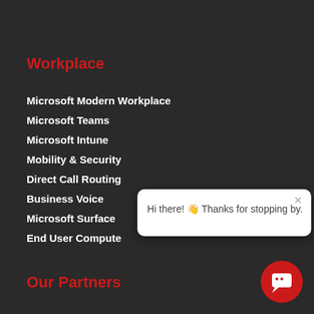Workplace
Microsoft Modern Workplace
Microsoft Teams
Microsoft Intune
Mobility & Security
Direct Call Routing
Business Voice
Microsoft Surface
End User Compute
[Figure (screenshot): Chat popup widget with red 't' logo icon and message: 'Hi there! Thanks for stopping by.' with a close X button]
Our Partners
[Figure (illustration): Red circular chat bubble button in bottom right corner]